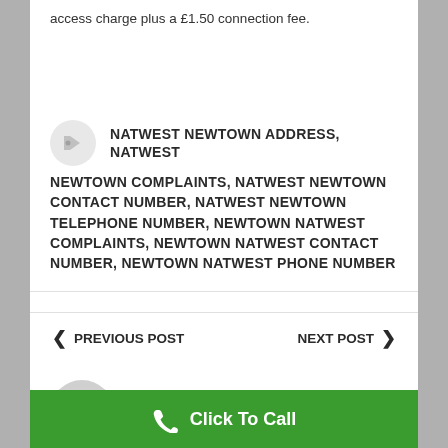access charge plus a £1.50 connection fee.
NATWEST NEWTOWN ADDRESS, NATWEST NEWTOWN COMPLAINTS, NATWEST NEWTOWN CONTACT NUMBER, NATWEST NEWTOWN TELEPHONE NUMBER, NEWTOWN NATWEST COMPLAINTS, NEWTOWN NATWEST CONTACT NUMBER, NEWTOWN NATWEST PHONE NUMBER
PREVIOUS POST
NEXT POST
NEWTOWN
Click To Call